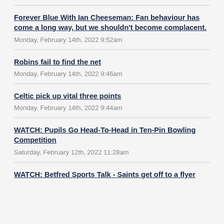Forever Blue With Ian Cheeseman: Fan behaviour has come a long way, but we shouldn't become complacent.
Monday, February 14th, 2022 9:52am
Robins fail to find the net
Monday, February 14th, 2022 9:46am
Celtic pick up vital three points
Monday, February 14th, 2022 9:44am
WATCH: Pupils Go Head-To-Head in Ten-Pin Bowling Competition
Saturday, February 12th, 2022 11:28am
WATCH: Betfred Sports Talk - Saints get off to a flyer